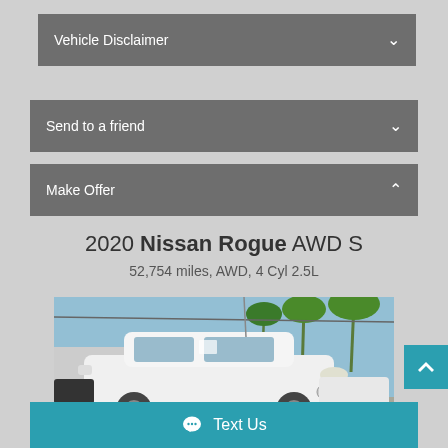Vehicle Disclaimer
Send to a friend
Make Offer
2020 Nissan Rogue AWD S
52,754 miles, AWD, 4 Cyl 2.5L
[Figure (photo): White 2020 Nissan Rogue SUV parked in a lot with palm trees and blue sky in background]
Text Us